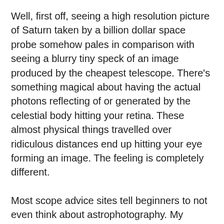Well, first off, seeing a high resolution picture of Saturn taken by a billion dollar space probe somehow pales in comparison with seeing a blurry tiny speck of an image produced by the cheapest telescope. There's something magical about having the actual photons reflecting of or generated by the celestial body hitting your retina. These almost physical things travelled over ridiculous distances end up hitting your eye forming an image. The feeling is completely different.
Most scope advice sites tell beginners to not even think about astrophotography. My advise to you is to disregard this. Astrophotography is one of the most rewarding things you can do. That picture won't be of Hubble quality, but it will be yours. A detailed mosaic of the lunar surface makes a great wall hanging or wallpaper. Again, there's something different in the pictures that you took. People don't stop sm[Feedback]es of New